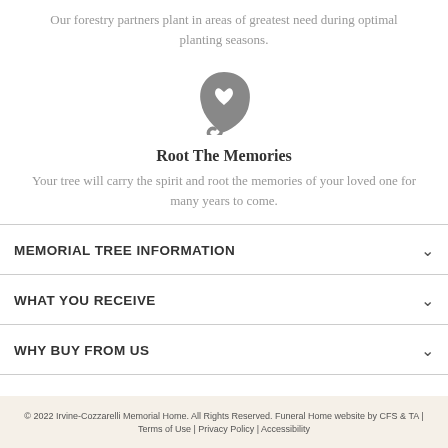Our forestry partners plant in areas of greatest need during optimal planting seasons.
[Figure (illustration): A dark gray leaf icon with a small heart cutout in the center]
Root The Memories
Your tree will carry the spirit and root the memories of your loved one for many years to come.
MEMORIAL TREE INFORMATION
WHAT YOU RECEIVE
WHY BUY FROM US
© 2022 Irvine-Cozzarelli Memorial Home. All Rights Reserved. Funeral Home website by CFS & TA | Terms of Use | Privacy Policy | Accessibility